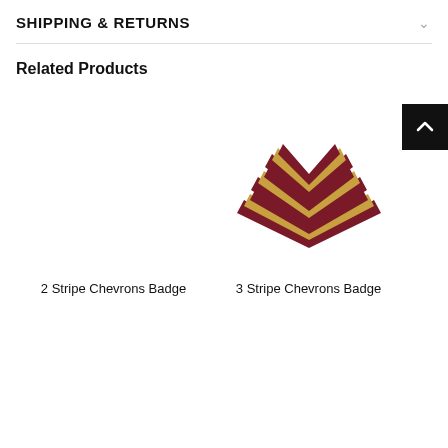SHIPPING & RETURNS
Related Products
[Figure (photo): 3-stripe military chevron badge, dark red/maroon background with gold/yellow stripes, V-shape pointing down]
2 Stripe Chevrons Badge
3 Stripe Chevrons Badge